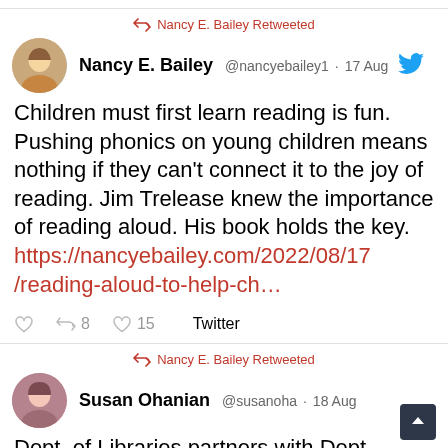Nancy E. Bailey Retweeted
Nancy E. Bailey @nancyebailey1 · 17 Aug
Children must first learn reading is fun. Pushing phonics on young children means nothing if they can't connect it to the joy of reading. Jim Trelease knew the importance of reading aloud. His book holds the key. https://nancyebailey.com/2022/08/17/reading-aloud-to-help-ch…
8 retweets, 15 likes, Twitter
Nancy E. Bailey Retweeted
Susan Ohanian @susanoha · 18 Aug
Dept. of Libraries partners with Dept.